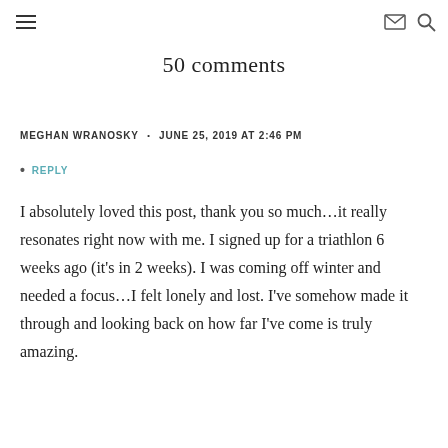≡  ✉ 🔍
50 comments
MEGHAN WRANOSKY · JUNE 25, 2019 AT 2:46 PM
• REPLY
I absolutely loved this post, thank you so much…it really resonates right now with me. I signed up for a triathlon 6 weeks ago (it's in 2 weeks). I was coming off winter and needed a focus…I felt lonely and lost. I've somehow made it through and looking back on how far I've come is truly amazing.